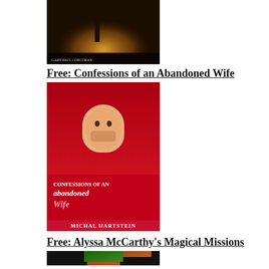[Figure (illustration): Book cover for 'Lipstick Warriors: Darkness Falls' by Gary Paul Corcoran - dark atmospheric cover with golden sky]
Free: Confessions of an Abandoned Wife
[Figure (illustration): Book cover for 'Confessions of an Abandoned Wife' by Michal Hartstein - red cover with woman's face]
Free: Alyssa McCarthy's Magical Missions
[Figure (illustration): Book cover series for 'Alyssa McCarthy's Magical Missions' by Joanna Pearl - three fantasy book covers]
Free: The Envelope
[Figure (illustration): Book cover for 'The Envelope' - blue cover]